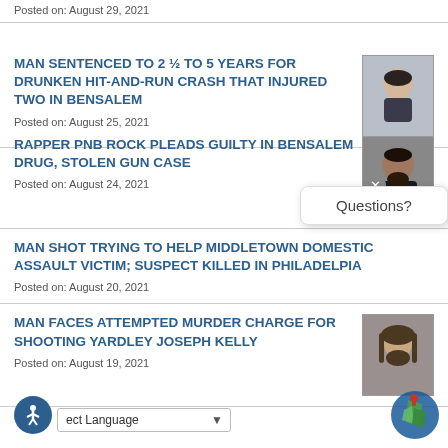Posted on: August 29, 2021
MAN SENTENCED TO 2 ½ TO 5 YEARS FOR DRUNKEN HIT-AND-RUN CRASH THAT INJURED TWO IN BENSALEM
Posted on: August 25, 2021
[Figure (photo): Mugshot of man, light skin, dark hair]
RAPPER PNB ROCK PLEADS GUILTY IN BENSALEM DRUG, STOLEN GUN CASE
Posted on: August 24, 2021
[Figure (photo): Mugshot of bearded man, darker complexion]
MAN SHOT TRYING TO HELP MIDDLETOWN DOMESTIC ASSAULT VICTIM; SUSPECT KILLED IN PHILADELPIA
Posted on: August 20, 2021
MAN FACES ATTEMPTED MURDER CHARGE FOR SHOOTING YARDLEY JOSEPH KELLY
Posted on: August 19, 2021
[Figure (photo): Mugshot of man with long hair and beard]